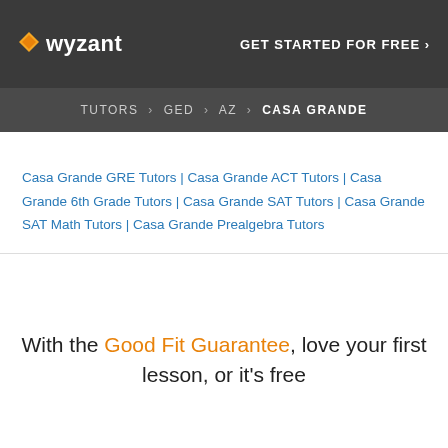wyzant | GET STARTED FOR FREE ›
TUTORS › GED › AZ › CASA GRANDE
Casa Grande GRE Tutors | Casa Grande ACT Tutors | Casa Grande 6th Grade Tutors | Casa Grande SAT Tutors | Casa Grande SAT Math Tutors | Casa Grande Prealgebra Tutors
With the Good Fit Guarantee, love your first lesson, or it's free